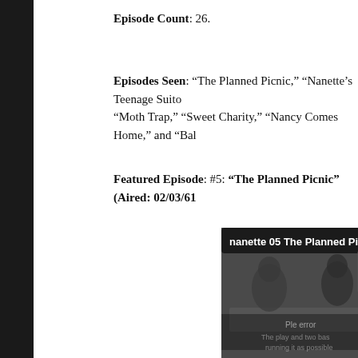Episode Count: 26.
Episodes Seen: “The Planned Picnic,” “Nanette’s Teenage Suito… “Moth Trap,” “Sweet Charity,” “Nancy Comes Home,” and “Bal…
Featured Episode: #5: “The Planned Picnic” (Aired: 02/03/61…
[Figure (screenshot): Black and white screenshot of a TV show episode titled 'nanette 05 The Planned Picnic'. Two women are seated at a table in a domestic scene. Overlay text visible on screen.]